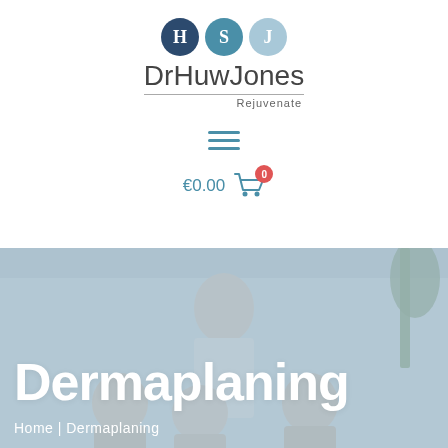[Figure (logo): DrHuwJones Rejuvenate logo with three circles labeled H, S, J in shades of blue/teal]
[Figure (other): Hamburger menu icon (three horizontal teal lines)]
€0.00
[Figure (other): Shopping cart icon with red badge showing 0]
[Figure (photo): Background photo of medical team: a man in white shirt standing behind three smiling women, in a light clinic setting]
Dermaplaning
Home  |  Dermaplaning